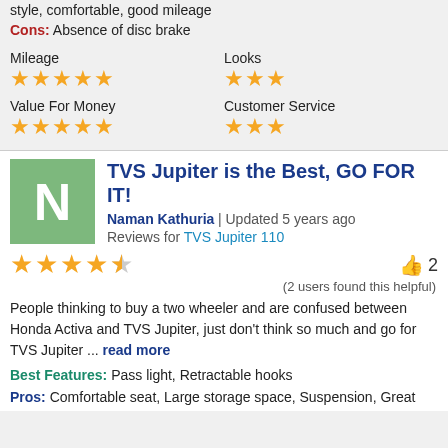style, comfortable, good mileage
Cons: Absence of disc brake
Mileage ★★★★★
Looks ★★★
Value For Money ★★★★★
Customer Service ★★★
TVS Jupiter is the Best, GO FOR IT!
Naman Kathuria | Updated 5 years ago
Reviews for TVS Jupiter 110
4.5 stars, 2 users found this helpful
People thinking to buy a two wheeler and are confused between Honda Activa and TVS Jupiter, just don't think so much and go for TVS Jupiter ... read more
Best Features: Pass light, Retractable hooks
Pros: Comfortable seat, Large storage space, Suspension, Great